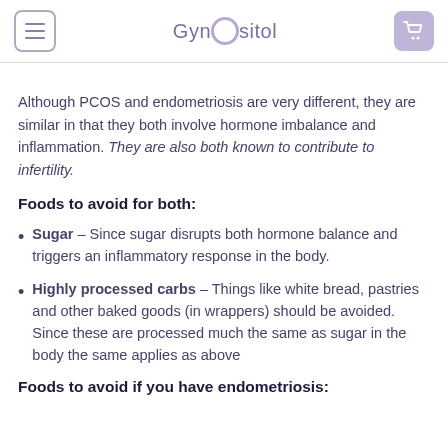GynOsitol
Although PCOS and endometriosis are very different, they are similar in that they both involve hormone imbalance and inflammation. They are also both known to contribute to infertility.
Foods to avoid for both:
Sugar – Since sugar disrupts both hormone balance and triggers an inflammatory response in the body.
Highly processed carbs – Things like white bread, pastries and other baked goods (in wrappers) should be avoided. Since these are processed much the same as sugar in the body the same applies as above
Foods to avoid if you have endometriosis: